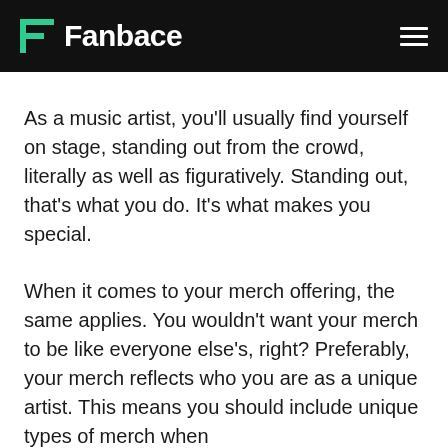Fanbace
As a music artist, you'll usually find yourself on stage, standing out from the crowd, literally as well as figuratively. Standing out, that's what you do. It's what makes you special.
When it comes to your merch offering, the same applies. You wouldn't want your merch to be like everyone else's, right? Preferably, your merch reflects who you are as a unique artist. This means you should include unique types of merch when